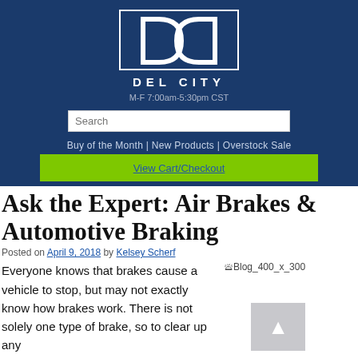[Figure (logo): Del City logo: two curved bracket shapes forming a DC symbol above 'DEL CITY' text in white on dark blue background]
M-F 7:00am-5:30pm CST
Search
Buy of the Month | New Products | Overstock Sale
View Cart/Checkout
Ask the Expert: Air Brakes & Automotive Braking
Posted on April 9, 2018 by Kelsey Scherf
[Figure (photo): Broken image placeholder labeled Blog_400_x_300]
Everyone knows that brakes cause a vehicle to stop, but may not exactly know how brakes work. There is not solely one type of brake, so to clear up any